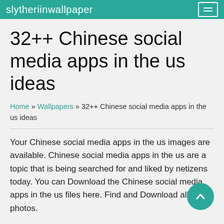slytheriinwallpaper
32++ Chinese social media apps in the us ideas
Home » Wallpapers » 32++ Chinese social media apps in the us ideas
Your Chinese social media apps in the us images are available. Chinese social media apps in the us are a topic that is being searched for and liked by netizens today. You can Download the Chinese social media apps in the us files here. Find and Download all free photos.
If you're searching for chinese social media apps in the us pictures information linked to the chinese social media apps in the us